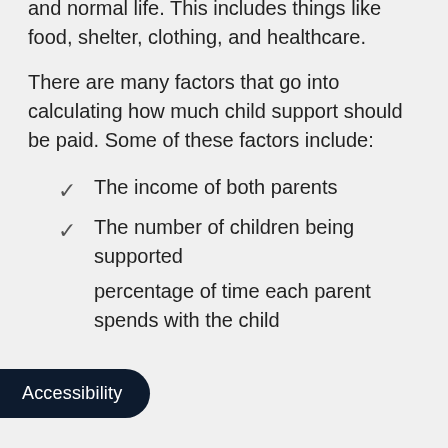resources necessary to live a healthy and normal life. This includes things like food, shelter, clothing, and healthcare.
There are many factors that go into calculating how much child support should be paid. Some of these factors include:
The income of both parents
The number of children being supported
The percentage of time each parent spends with the child